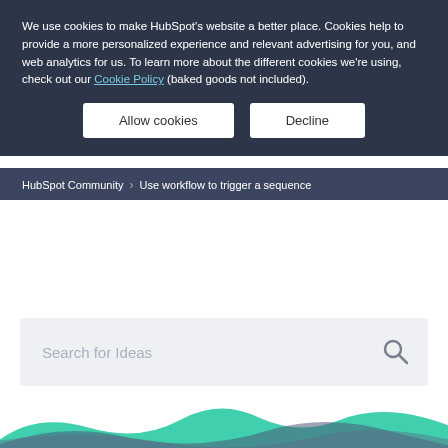We use cookies to make HubSpot's website a better place. Cookies help to provide a more personalized experience and relevant advertising for you, and web analytics for us. To learn more about the different cookies we're using, check out our Cookie Policy (baked goods not included).
Allow cookies
Decline
HubSpot Community > Use workflow to trigger a sequence
HubSpot Ideas
Search HubSpot Ideas or Create Idea
Search for Ideas
[Figure (illustration): Decorative wave pattern in teal, slate blue, and muted blue-gray colors at the bottom of the page]